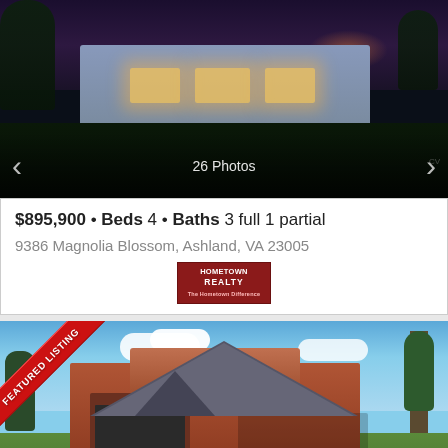[Figure (photo): Nighttime exterior photo of a suburban house with warm interior lights glowing, surrounded by dark lawn and trees, with navigation arrows and '26 Photos' overlay at bottom]
$895,900 • Beds 4 • Baths 3 full 1 partial
9386 Magnolia Blossom, Ashland, VA 23005
[Figure (logo): Hometown Realty logo — dark red rectangular badge with white text]
[Figure (photo): Daytime exterior photo of a red-brick two-story house with attached garage, porch, trees, and blue sky with clouds. Featured Listing diagonal banner in red at top-left corner.]